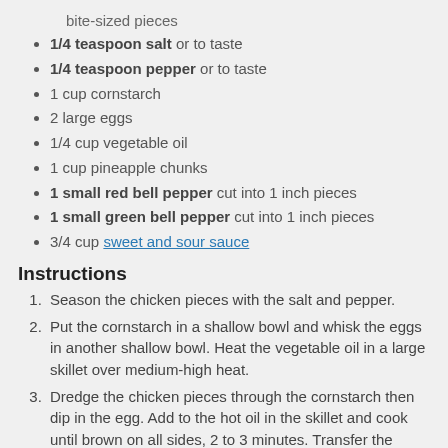bite-sized pieces
1/4 teaspoon salt or to taste
1/4 teaspoon pepper or to taste
1 cup cornstarch
2 large eggs
1/4 cup vegetable oil
1 cup pineapple chunks
1 small red bell pepper cut into 1 inch pieces
1 small green bell pepper cut into 1 inch pieces
3/4 cup sweet and sour sauce
Instructions
Season the chicken pieces with the salt and pepper.
Put the cornstarch in a shallow bowl and whisk the eggs in another shallow bowl. Heat the vegetable oil in a large skillet over medium-high heat.
Dredge the chicken pieces through the cornstarch then dip in the egg. Add to the hot oil in the skillet and cook until brown on all sides, 2 to 3 minutes. Transfer the chicken to a baking sheet and repeat with remaining chicken.